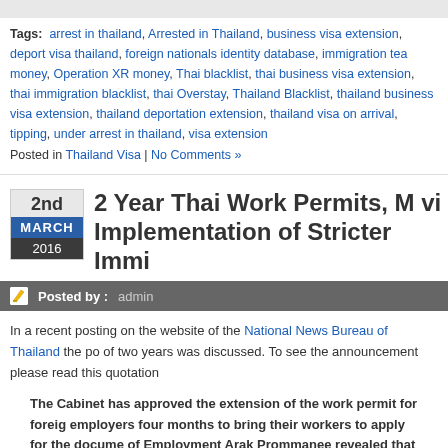Tags: arrest in thailand, Arrested in Thailand, business visa extension, deport visa thailand, foreign nationals identity database, immigration tea money, Operation XR money, Thai blacklist, thai business visa extension, thai immigration blacklist, thai Overstay, Thailand Blacklist, thailand business visa extension, thailand deportation extension, thailand visa on arrival, tipping, under arrest in thailand, visa extension
Posted in Thailand Visa | No Comments »
2 Year Thai Work Permits, M vi Implementation of Stricter Immi
Posted by : admin
In a recent posting on the website of the National News Bureau of Thailand the po of two years was discussed. To see the announcement please read this quotation
The Cabinet has approved the extension of the work permit for foreig employers four months to bring their workers to apply for the docume of Employment Arak Prommanee revealed that Cabinet approval has committee in charge of foreign labor management policies to have th permit, or the pink card, extended from one year to two years. As a re on March 31, 2016 will be allowed to stay in the Kingdom for two mor verification process. To apply for the new permit, employers will be r